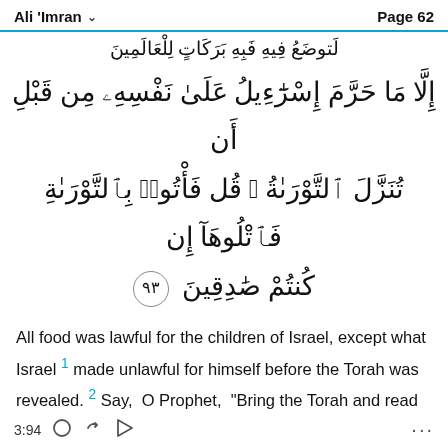Ali 'Imran   Page 62
إِلَّا مَا حَرَّمَ إِسْرَٰٓءِيلُ عَلَىٰ نَفْسِهِۦ مِن قَبْلِ أَن تُنَزَّلَ ٱلتَّوْرَىٰةُ ۗ قُل فَأْتُوا۟ بِٱلتَّوْرَىٰةِ فَٱتْلُوهَآ إِن كُنتُمْ صَٰدِقِينَ ٩٣
All food was lawful for the children of Israel, except what Israel made unlawful for himself before the Torah was revealed. Say, O Prophet, "Bring the Torah and read it, if your claims are true."